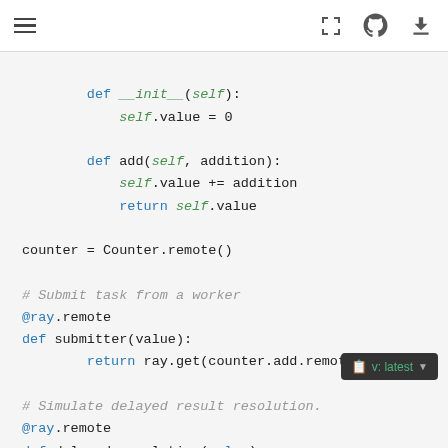Navigation bar with hamburger menu, fullscreen, GitHub, and download icons
[Figure (screenshot): Code editor screenshot showing Python code with syntax highlighting. Code includes a Counter class __init__ method, an add method, counter instantiation, and remote function definitions using @ray.remote decorator including submitter and delayed_resolution functions, plus comments about submitting tasks from workers.]